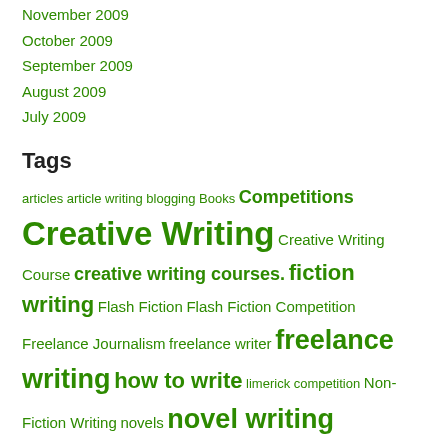November 2009
October 2009
September 2009
August 2009
July 2009
Tags
articles article writing blogging Books Competitions Creative Writing Creative Writing Course creative writing courses. fiction writing Flash Fiction Flash Fiction Competition Freelance Journalism freelance writer freelance writing how to write limerick competition Non-Fiction Writing novels novel writing Poetry Poetry Competition poetry writing Proofreading publishing Reading self-publishing Short stories Short Story short story competition short story competitions short story writing The Writers Bureau writer's block writers Writers Bureau Writing writing advice Writing Careers writing competition writing competitions